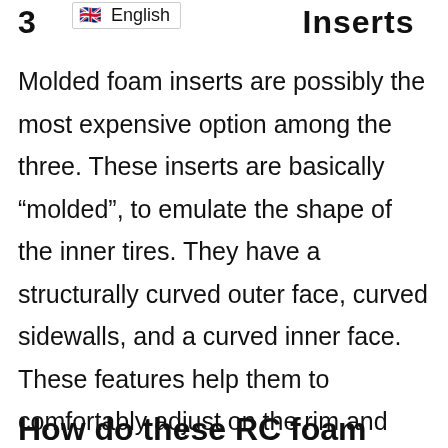3 ... Inserts
Molded foam inserts are possibly the most expensive option among the three. These inserts are basically “molded”, to emulate the shape of the inner tires. They have a structurally curved outer face, curved sidewalls, and a curved inner face. These features help them to comfortably adjust on the rim and inside the tires.
How do these RC foam